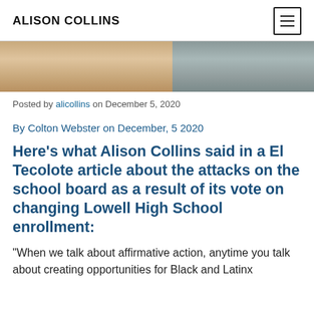ALISON COLLINS
[Figure (photo): Cropped photo showing two people side by side, left person with blonde hair wearing light top, right person wearing dark top]
Posted by alicollins on December 5, 2020
By Colton Webster on December, 5 2020
Here’s what Alison Collins said in a El Tecolote article about the attacks on the school board as a result of its vote on changing Lowell High School enrollment:
“When we talk about affirmative action, anytime you talk about creating opportunities for Black and Latinx